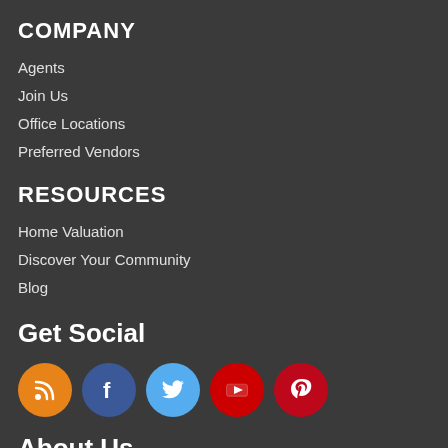COMPANY
Agents
Join Us
Office Locations
Preferred Vendors
RESOURCES
Home Valuation
Discover Your Community
Blog
Get Social
[Figure (illustration): Row of five social media icon circles: RSS (orange), Facebook (dark blue), Twitter (light blue), YouTube (red), Pinterest (red)]
About Us
ExecuHome Realty is Greater Baltimore's most innovative real estate team.